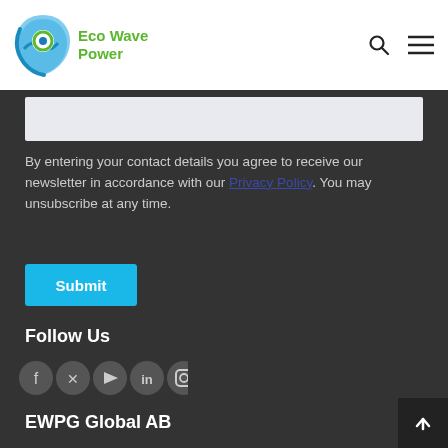Eco Wave Power
By entering your contact details you agree to receive our newsletter in accordance with our Privacy Policy. You may unsubscribe at any time.
Submit
Follow Us
[Figure (other): Social media icons: Facebook, Twitter, YouTube, LinkedIn, Instagram]
EWPG Global AB